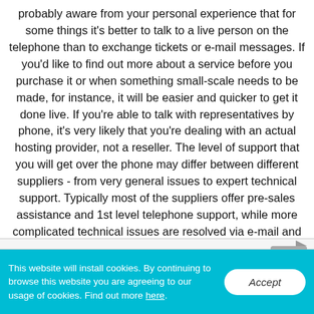probably aware from your personal experience that for some things it's better to talk to a live person on the telephone than to exchange tickets or e-mail messages. If you'd like to find out more about a service before you purchase it or when something small-scale needs to be made, for instance, it will be easier and quicker to get it done live. If you're able to talk with representatives by phone, it's very likely that you're dealing with an actual hosting provider, not a reseller. The level of support that you will get over the phone may differ between different suppliers - from very general issues to expert technical support. Typically most of the suppliers offer pre-sales assistance and 1st level telephone support, while more complicated technical issues are resolved via e-mail and tickets.
Phone Support in Semi-dedicated Hosting
This website will install cookies. By continuing to browse this website you are agreeing to our usage of cookies. Find out more here.